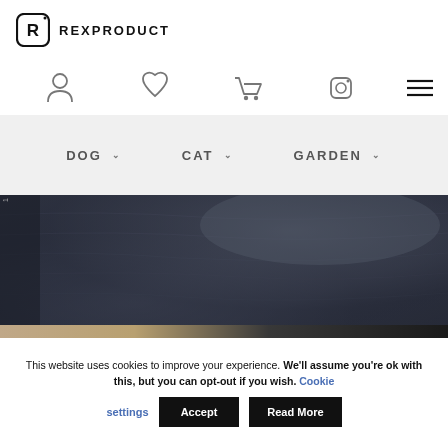REXPRODUCT
[Figure (logo): RexProduct logo with stylized R in a rounded square and text REXPRODUCT]
[Figure (other): Navigation icons row: user/account, heart/wishlist, shopping cart, Instagram, hamburger menu]
DOG  CAT  GARDEN
[Figure (photo): Close-up photo of a dark grey/charcoal velvet dog bed cushion with textured fabric, bottom strip showing beige piping]
This website uses cookies to improve your experience. We'll assume you're ok with this, but you can opt-out if you wish. Cookie settings  Accept  Read More